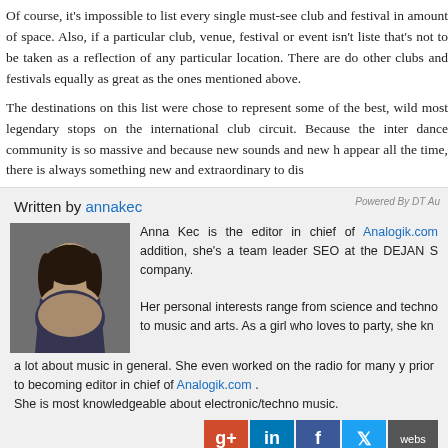Of course, it's impossible to list every single must-see club and festival in amount of space. Also, if a particular club, venue, festival or event isn't listed, that's not to be taken as a reflection of any particular location. There are do other clubs and festivals equally as great as the ones mentioned above.
The destinations on this list were chose to represent some of the best, wild most legendary stops on the international club circuit. Because the inter dance community is so massive and because new sounds and new appear all the time, there is always something new and extraordinary to disc
Powered By DT Au
Written by annakec
[Figure (photo): Author photo of Anna Kec - a young woman with dark hair]
Anna Kec is the editor in chief of Analogik.com addition, she's a team leader SEO at the DEJAN S company.
Her personal interests range from science and techno to music and arts. As a girl who loves to party, she kn a lot about music in general. She even worked on the radio for many y prior to becoming editor in chief of Analogik.com .
She is most knowledgeable about electronic/techno music.
[Figure (infographic): Social media buttons: Google+, LinkedIn, Facebook, Twitter, Website]